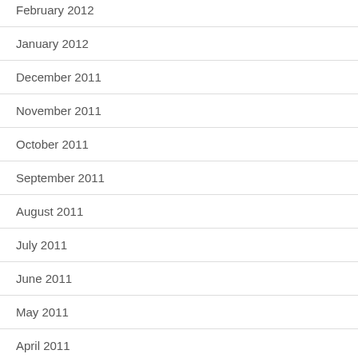February 2012
January 2012
December 2011
November 2011
October 2011
September 2011
August 2011
July 2011
June 2011
May 2011
April 2011